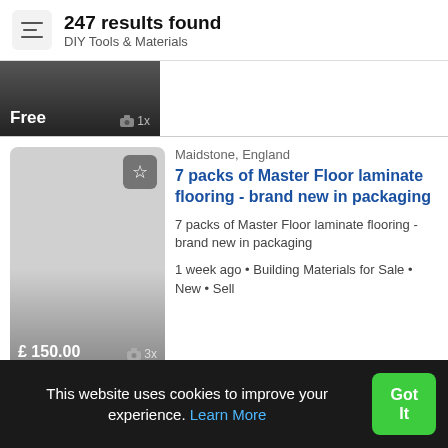247 results found
DIY Tools & Materials
[Figure (screenshot): Listing thumbnail with dark gradient background showing 'Free' price label and '1x' photo count]
Maidstone, England
7 packs of Master Floor laminate flooring - brand new in packaging
7 packs of Master Floor laminate flooring - brand new in packaging
1 week ago • Building Materials for Sale • New • Sell
£ 150.00  3x
Martock, England
This website uses cookies to improve your experience. Learn More
Got It